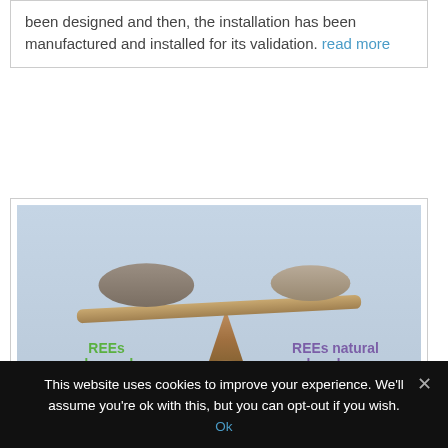been designed and then, the installation has been manufactured and installed for its validation. read more
[Figure (illustration): A balance/scale made of two stacked stones on each end of a flat stone plank balanced on a triangular fulcrum. Left side labeled 'REEs demand' in green, right side labeled 'REEs natural abundance' in purple. Remaghic logo in lower left corner.]
This website uses cookies to improve your experience. We'll assume you're ok with this, but you can opt-out if you wish. Ok